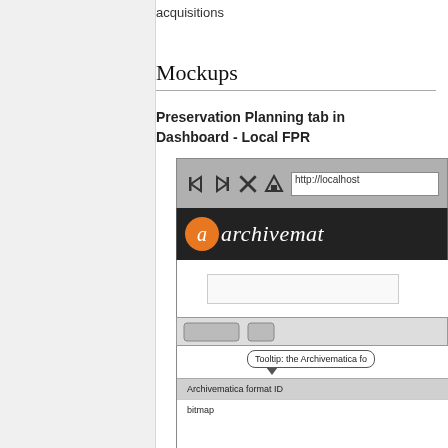acquisitions
Mockups
Preservation Planning tab in Dashboard - Local FPR
[Figure (screenshot): Browser mockup showing Archivematica dashboard with Format policies section, tooltip, and a table with Archivematica format ID row and bitmap row]